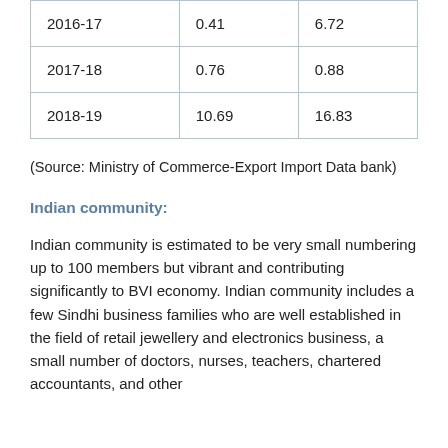| 2016-17 | 0.41 | 6.72 |
| 2017-18 | 0.76 | 0.88 |
| 2018-19 | 10.69 | 16.83 |
(Source: Ministry of Commerce-Export Import Data bank)
Indian community:
Indian community is estimated to be very small numbering up to 100 members but vibrant and contributing significantly to BVI economy. Indian community includes a few Sindhi business families who are well established in the field of retail jewellery and electronics business, a small number of doctors, nurses, teachers, chartered accountants, and other